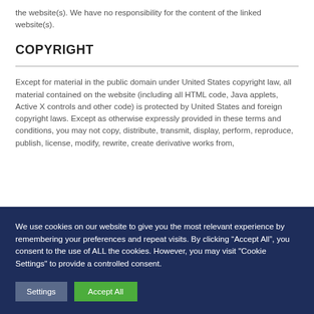the website(s). We have no responsibility for the content of the linked website(s).
COPYRIGHT
Except for material in the public domain under United States copyright law, all material contained on the website (including all HTML code, Java applets, Active X controls and other code) is protected by United States and foreign copyright laws. Except as otherwise expressly provided in these terms and conditions, you may not copy, distribute, transmit, display, perform, reproduce, publish, license, modify, rewrite, create derivative works from,
We use cookies on our website to give you the most relevant experience by remembering your preferences and repeat visits. By clicking “Accept All”, you consent to the use of ALL the cookies. However, you may visit "Cookie Settings" to provide a controlled consent.
Settings
Accept All